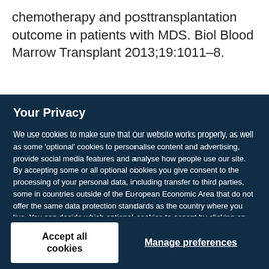chemotherapy and posttransplantation outcome in patients with MDS. Biol Blood Marrow Transplant 2013;19:1011–8.
Your Privacy
We use cookies to make sure that our website works properly, as well as some 'optional' cookies to personalise content and advertising, provide social media features and analyse how people use our site. By accepting some or all optional cookies you give consent to the processing of your personal data, including transfer to third parties, some in countries outside of the European Economic Area that do not offer the same data protection standards as the country where you live. You can decide which optional cookies to accept by clicking on 'Manage Settings', where you can also find more information about how your personal data is processed. Further information can be found in our privacy policy.
Accept all cookies
Manage preferences